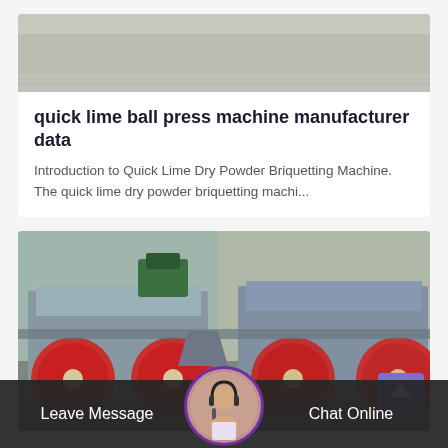[Figure (photo): Partial view of industrial machine or equipment, gray floor surface visible at top of card.]
quick lime ball press machine manufacturer data
Introduction to Quick Lime Dry Powder Briquetting Machine. The quick lime dry powder briquetting machi...
[Figure (photo): Industrial briquetting press machines with large red and beige rollers, gray metal frames, green motor, manufacturing facility background.]
Leave Message
Chat Online